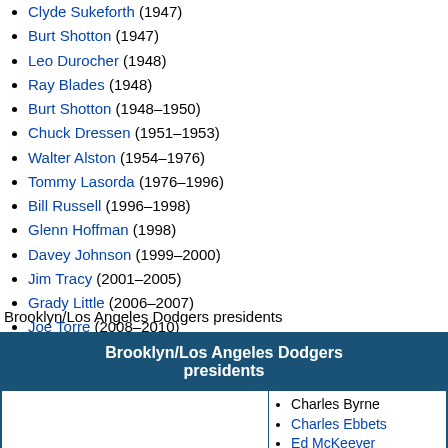Clyde Sukeforth (1947)
Burt Shotton (1947)
Leo Durocher (1948)
Ray Blades (1948)
Burt Shotton (1948–1950)
Chuck Dressen (1951–1953)
Walter Alston (1954–1976)
Tommy Lasorda (1976–1996)
Bill Russell (1996–1998)
Glenn Hoffman (1998)
Davey Johnson (1999–2000)
Jim Tracy (2001–2005)
Grady Little (2006–2007)
Joe Torre (2008–2010)
Don Mattingly (2011–2015)
Dave Roberts (2016–)
Brooklyn/Los Angeles Dodgers presidents
| Brooklyn/Los Angeles Dodgers presidents |
| --- |
| Brooklyn | Charles Byrne
Charles Ebbets
Ed McKeever
Wilbert Robinson |